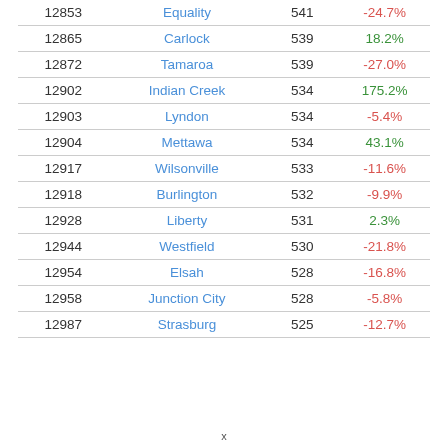| Rank | City | Population | Change |
| --- | --- | --- | --- |
| 12853 | Equality | 541 | -24.7% |
| 12865 | Carlock | 539 | 18.2% |
| 12872 | Tamaroa | 539 | -27.0% |
| 12902 | Indian Creek | 534 | 175.2% |
| 12903 | Lyndon | 534 | -5.4% |
| 12904 | Mettawa | 534 | 43.1% |
| 12917 | Wilsonville | 533 | -11.6% |
| 12918 | Burlington | 532 | -9.9% |
| 12928 | Liberty | 531 | 2.3% |
| 12944 | Westfield | 530 | -21.8% |
| 12954 | Elsah | 528 | -16.8% |
| 12958 | Junction City | 528 | -5.8% |
| 12987 | Strasburg | 525 | -12.7% |